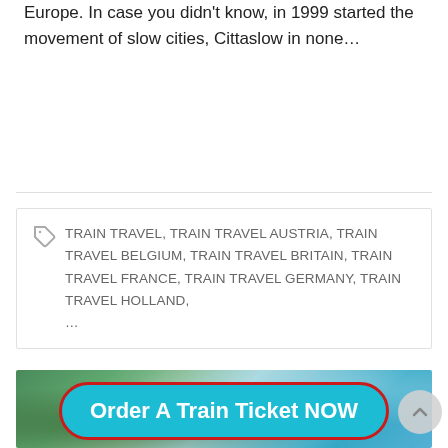Europe. In case you didn't know, in 1999 started the movement of slow cities, Cittaslow in none…
TRAIN TRAVEL, TRAIN TRAVEL AUSTRIA, TRAIN TRAVEL BELGIUM, TRAIN TRAVEL BRITAIN, TRAIN TRAVEL FRANCE, TRAIN TRAVEL GERMANY, TRAIN TRAVEL HOLLAND, …
[Figure (photo): Aerial paragliding photo showing two helmeted paragliders in tandem flight over a green valley with blue sky in the background]
Order A Train Ticket NOW